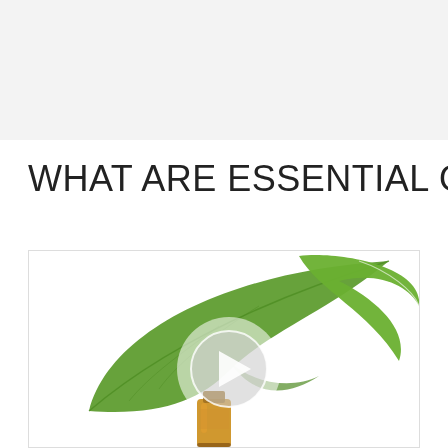WHAT ARE ESSENTIAL OILS?
[Figure (photo): A video thumbnail showing green leaves and a small glass bottle with essential oil, with a circular play button overlay in the center.]